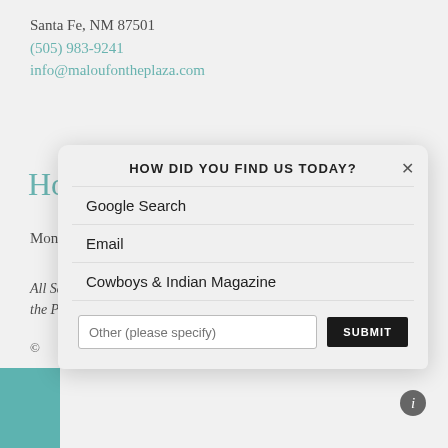Santa Fe, NM 87501
(505) 983-9241
info@maloufontheplaza.com
Hours
Mon–Sat: 10:00a–5:30p & Sun: 10:00a–5:00p
All Sales Final. No refunds. Exchanges to be received by Malouf on the Plaza withi
HOW DID YOU FIND US TODAY?
Google Search
Email
Cowboys & Indian Magazine